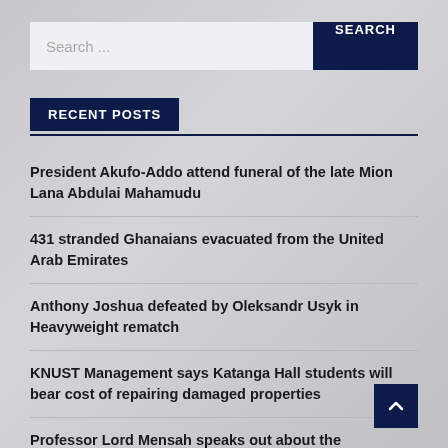Search ...
RECENT POSTS
President Akufo-Addo attend funeral of the late Mion Lana Abdulai Mahamudu
431 stranded Ghanaians evacuated from the United Arab Emirates
Anthony Joshua defeated by Oleksandr Usyk in Heavyweight rematch
KNUST Management says Katanga Hall students will bear cost of repairing damaged properties
Professor Lord Mensah speaks out about the continuous free fall of the Cedi